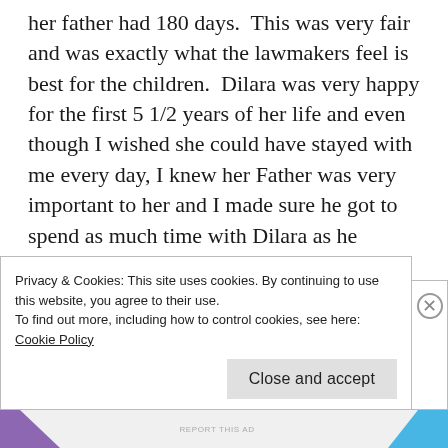her father had 180 days.  This was very fair and was exactly what the lawmakers feel is best for the children.  Dilara was very happy for the first 5 1/2 years of her life and even though I wished she could have stayed with me every day, I knew her Father was very important to her and I made sure he got to spend as much time with Dilara as he wanted to.
I thought it was very strange that a lawyer would want to take away the time a little girl
Privacy & Cookies: This site uses cookies. By continuing to use this website, you agree to their use.
To find out more, including how to control cookies, see here: Cookie Policy